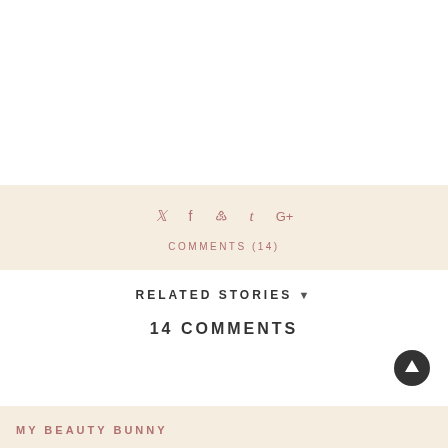Social share icons: Twitter, Facebook, Pinterest, Tumblr, Google+
COMMENTS (14)
RELATED STORIES ▾
14 COMMENTS
MY BEAUTY BUNNY